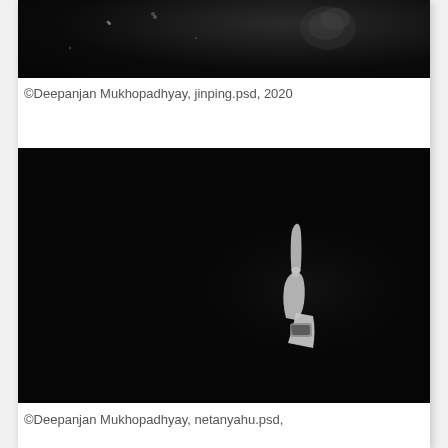[Figure (photo): Black and white photograph with dark background, partial view cut off at top — appears to show a night or dark scene with some light specks/particles]
©Deepanjan Mukhopadhyay, jinping.psd, 2020
[Figure (photo): Black and white photograph on very dark/black background showing a hand with index finger pointing upward, with a watch visible on the wrist, wearing a white shirt sleeve — appears to be a political figure]
©Deepanjan Mukhopadhyay, netanyahu.psd,